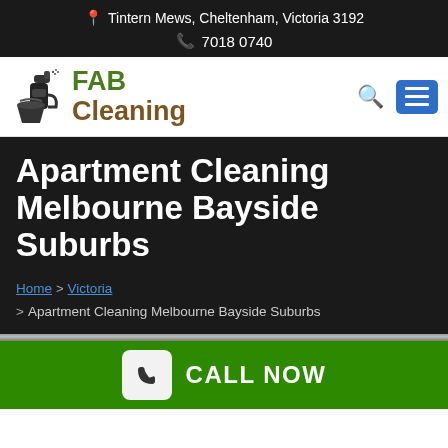📍 Tintern Mews, Cheltenham, Victoria 3192  📞 7018 0740
[Figure (logo): FAB Cleaning logo with cleaning spray bottle and bucket icon, green FAB text and brown Cleaning text]
Apartment Cleaning Melbourne Bayside Suburbs
Home > Victoria > Apartment Cleaning Melbourne Bayside Suburbs
CALL NOW